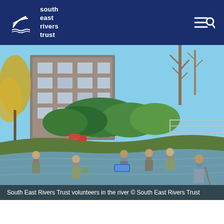south east rivers trust
[Figure (photo): Volunteers from South East Rivers Trust wading in a river in an urban setting, with buildings, trees and greenery in the background. Several people in waders are working in the shallow river water, with a blue container/tray floating among them.]
South East Rivers Trust volunteers in the river © South East Rivers Trust